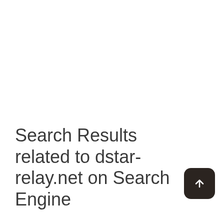Search Results related to dstar-relay.net on Search Engine